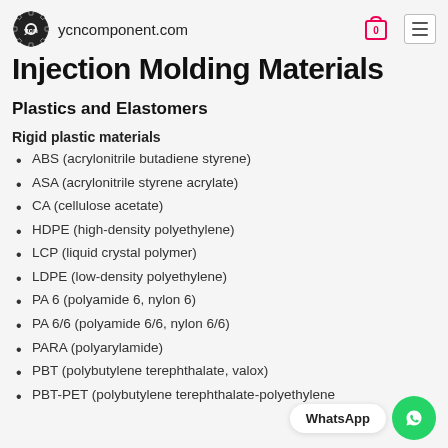ycncomponent.com
Injection Molding Materials
Plastics and Elastomers
Rigid plastic materials
ABS (acrylonitrile butadiene styrene)
ASA (acrylonitrile styrene acrylate)
CA (cellulose acetate)
HDPE (high-density polyethylene)
LCP (liquid crystal polymer)
LDPE (low-density polyethylene)
PA 6 (polyamide 6, nylon 6)
PA 6/6 (polyamide 6/6, nylon 6/6)
PARA (polyarylamide)
PBT (polybutylene terephthalate, valox)
PBT-PET (polybutylene terephthalate-polyethylene